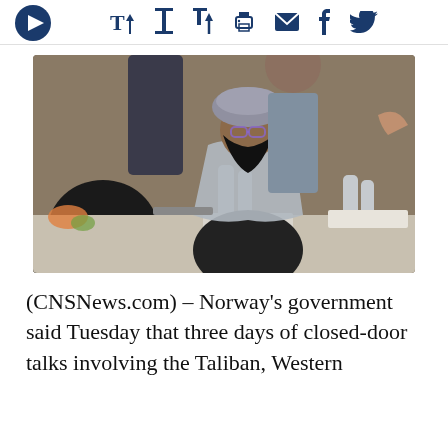[Figure (other): Toolbar with play button, text size icons, print, email, Facebook, and Twitter share icons]
[Figure (photo): A bearded man wearing a turban and glasses sits at a conference table during closed-door talks. A man in a suit gestures behind him. Water bottles and a nameplate are on the table.]
(CNSNews.com) – Norway's government said Tuesday that three days of closed-door talks involving the Taliban, Western